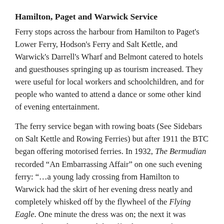Hamilton, Paget and Warwick Service
Ferry stops across the harbour from Hamilton to Paget's Lower Ferry, Hodson's Ferry and Salt Kettle, and Warwick's Darrell's Wharf and Belmont catered to hotels and guesthouses springing up as tourism increased. They were useful for local workers and schoolchildren, and for people who wanted to attend a dance or some other kind of evening entertainment.
The ferry service began with rowing boats (See Sidebars on Salt Kettle and Rowing Ferries) but after 1911 the BTC began offering motorised ferries. In 1932, The Bermudian recorded “An Embarrassing Affair” on one such evening ferry: “…a young lady crossing from Hamilton to Warwick had the skirt of her evening dress neatly and completely whisked off by the flywheel of the Flying Eagle. One minute the dress was on; the next it was wrapped securely around the offending piece of machinery.” The engine stopped “and could not be made to run again until the skirt had been removed, bit by bit from the flywheel.” As a result, the engine was enclosed with “a new